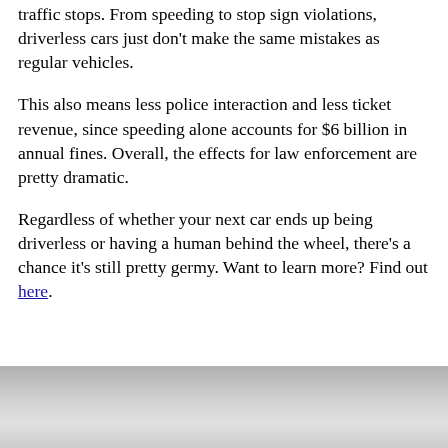traffic stops. From speeding to stop sign violations, driverless cars just don't make the same mistakes as regular vehicles.
This also means less police interaction and less ticket revenue, since speeding alone accounts for $6 billion in annual fines. Overall, the effects for law enforcement are pretty dramatic.
Regardless of whether your next car ends up being driverless or having a human behind the wheel, there's a chance it's still pretty germy. Want to learn more? Find out here.
[Figure (photo): Partial photo strip at the bottom of the page showing what appears to be a car interior or road scene in grayscale.]